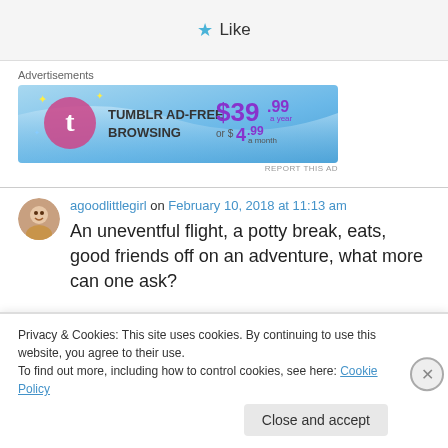★ Like
Advertisements
[Figure (illustration): Tumblr AD-FREE BROWSING advertisement banner. Shows Tumblr logo with sparkles on blue gradient background. Text: TUMBLR AD-FREE BROWSING $39.99 a year or $4.99 a month]
REPORT THIS AD
agoodlittlegirl on February 10, 2018 at 11:13 am
An uneventful flight, a potty break, eats, good friends off on an adventure, what more can one ask?
Privacy & Cookies: This site uses cookies. By continuing to use this website, you agree to their use.
To find out more, including how to control cookies, see here: Cookie Policy
Close and accept